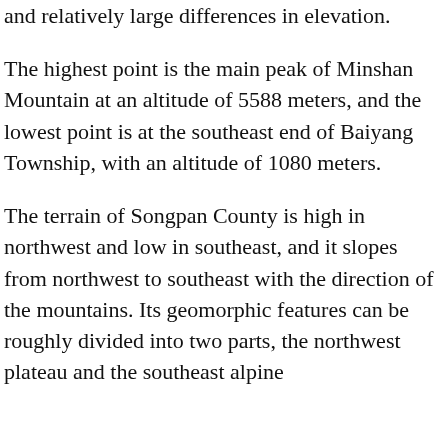and relatively large differences in elevation.
The highest point is the main peak of Minshan Mountain at an altitude of 5588 meters, and the lowest point is at the southeast end of Baiyang Township, with an altitude of 1080 meters.
The terrain of Songpan County is high in northwest and low in southeast, and it slopes from northwest to southeast with the direction of the mountains. Its geomorphic features can be roughly divided into two parts, the northwest plateau and the southeast alpine